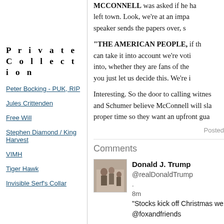MCCONNELL was asked if he had left town. Look, we're at an impasse speaker sends the papers over, s
"THE AMERICAN PEOPLE, if the can take it into account we're voti into, whether they are fans of the you just let us decide this. We're i
Interesting. So the door to calling witness and Schumer believe McConnell will slm proper time so they want an upfront gua
Posted
Comments
Private Collection
Peter Bocking - PUK, RIP
Jules Crittenden
Free Will
Stephen Diamond / King Harvest
VIMH
Tiger Hawk
Invisible Serf's Collar
Donald J. Trump @realDonaldTrump . 8m "Stocks kick off Christmas we @foxandfriends
Posted